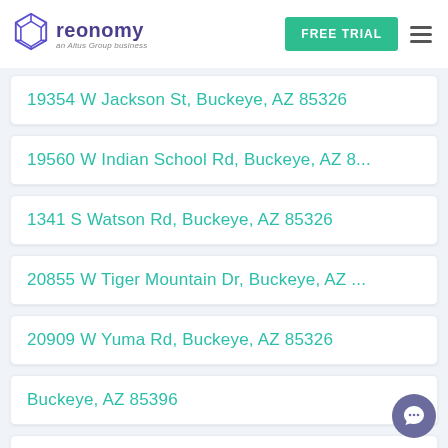reonomy an Altus Group business | FREE TRIAL
19354 W Jackson St, Buckeye, AZ 85326
19560 W Indian School Rd, Buckeye, AZ 8...
1341 S Watson Rd, Buckeye, AZ 85326
20855 W Tiger Mountain Dr, Buckeye, AZ ...
20909 W Yuma Rd, Buckeye, AZ 85326
Buckeye, AZ 85396
20818 W Pasadena Ave, Buckeye, AZ 85396